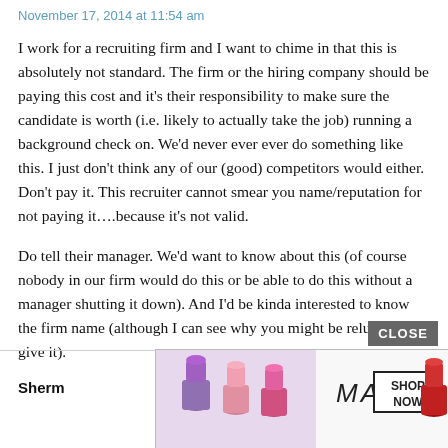November 17, 2014 at 11:54 am
I work for a recruiting firm and I want to chime in that this is absolutely not standard. The firm or the hiring company should be paying this cost and it’s their responsibility to make sure the candidate is worth (i.e. likely to actually take the job) running a background check on. We’d never ever ever do something like this. I just don’t think any of our (good) competitors would either. Don’t pay it. This recruiter cannot smear you name/reputation for not paying it….because it’s not valid.
Do tell their manager. We’d want to know about this (of course nobody in our firm would do this or be able to do this without a manager shutting it down). And I’d be kinda interested to know the firm name (although I can see why you might be reluctant to give it).
[Figure (advertisement): MAC cosmetics advertisement with lipsticks and SHOP NOW button]
Sherm